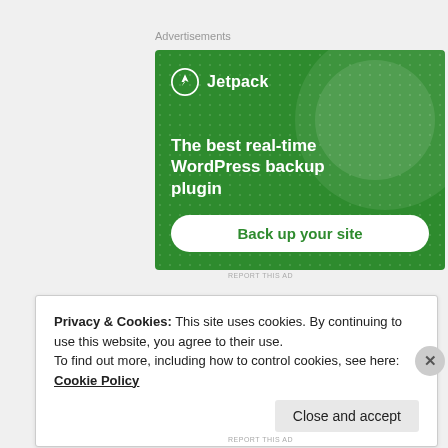Advertisements
[Figure (screenshot): Jetpack advertisement banner with green background showing logo, headline 'The best real-time WordPress backup plugin' and a 'Back up your site' button]
Privacy & Cookies: This site uses cookies. By continuing to use this website, you agree to their use.
To find out more, including how to control cookies, see here: Cookie Policy
Close and accept